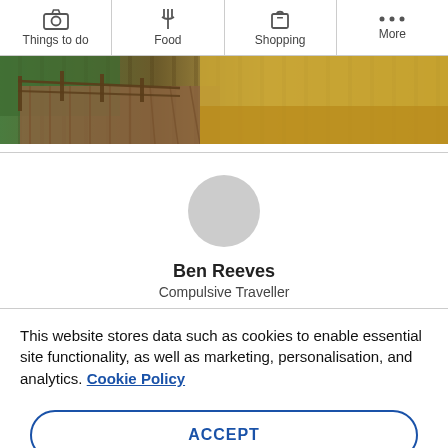[Figure (screenshot): Navigation bar with four icons: Things to do (camera), Food (fork/knife), Shopping (bag), More (three dots)]
[Figure (photo): Hero banner image showing a wooden boardwalk/pier with green hedges on the left and golden-toned water on the right]
[Figure (other): Circular grey avatar placeholder for user profile]
Ben Reeves
Compulsive Traveller
This website stores data such as cookies to enable essential site functionality, as well as marketing, personalisation, and analytics. Cookie Policy
ACCEPT